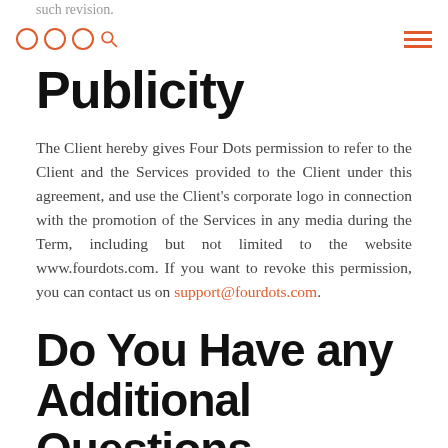such revision.
Publicity
The Client hereby gives Four Dots permission to refer to the Client and the Services provided to the Client under this agreement, and use the Client's corporate logo in connection with the promotion of the Services in any media during the Term, including but not limited to the website www.fourdots.com. If you want to revoke this permission, you can contact us on support@fourdots.com.
Do You Have any Additional Questions